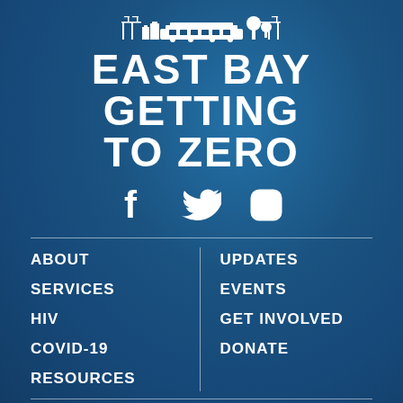[Figure (illustration): White line illustration of a skyline with industrial cranes, buildings, and trees representing East Bay]
EAST BAY GETTING TO ZERO
[Figure (infographic): Social media icons: Facebook, Twitter, Instagram in white]
ABOUT
SERVICES
HIV
COVID-19
RESOURCES
UPDATES
EVENTS
GET INVOLVED
DONATE
Privacy Policy   Site Map   Site Credits